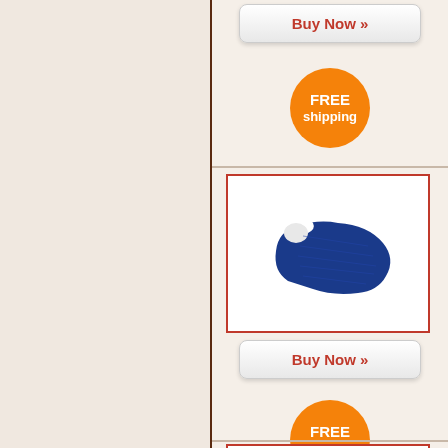[Figure (screenshot): E-commerce product listing page showing two product entries each with a 'Buy Now' button and 'FREE shipping' orange badge. The right side shows product images (blue saddle pad accessories) in red-bordered boxes. Left side is blank beige panel.]